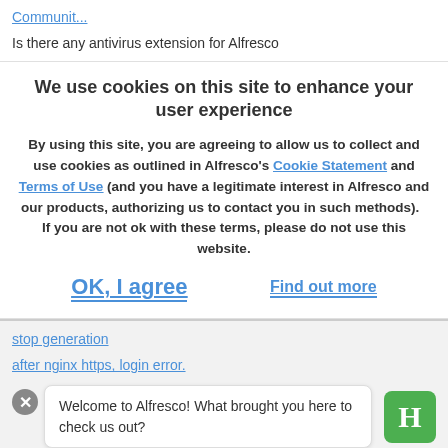Communit...
Is there any antivirus extension for Alfresco
We use cookies on this site to enhance your user experience
By using this site, you are agreeing to allow us to collect and use cookies as outlined in Alfresco's Cookie Statement and Terms of Use (and you have a legitimate interest in Alfresco and our products, authorizing us to contact you in such methods).   If you are not ok with these terms, please do not use this website.
OK, I agree
Find out more
stop generation
after nginx https, login error.
Welcome to Alfresco! What brought you here to check us out?